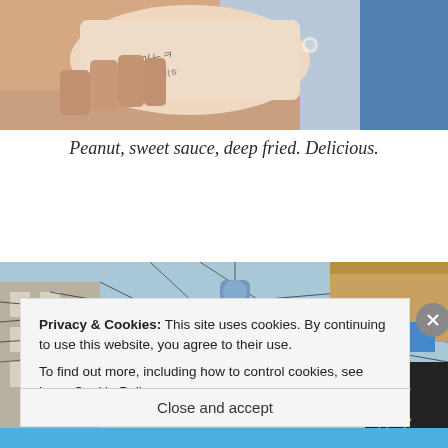[Figure (photo): Close-up photo of a hand holding a paper cup with Korean writing on it, light peach/cream background]
Peanut, sweet sauce, deep fried. Delicious.
[Figure (photo): Street scene in Japan/Korea showing hanging lanterns, utility wires, and a shop sign with Japanese characters]
Privacy & Cookies: This site uses cookies. By continuing to use this website, you agree to their use.
To find out more, including how to control cookies, see here: Cookie Policy
Close and accept